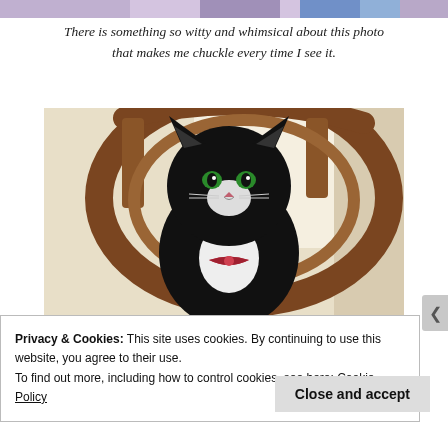[Figure (photo): Partial top strip of a photo showing colorful elements at the very top of the page]
There is something so witty and whimsical about this photo that makes me chuckle every time I see it.
[Figure (photo): A black and white tuxedo cat sitting in a wooden chair, looking at the camera, wearing a small red bow tie or accessory, with a window in the background.]
Privacy & Cookies: This site uses cookies. By continuing to use this website, you agree to their use.
To find out more, including how to control cookies, see here: Cookie Policy
Close and accept